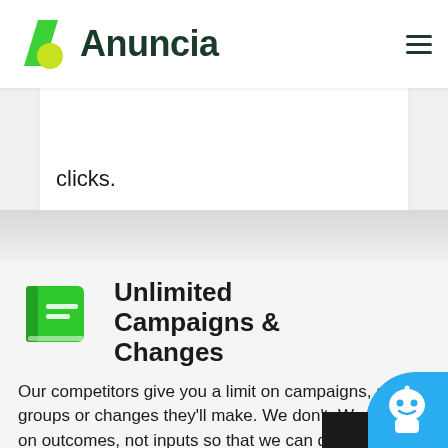Anuncia
clicks.
Unlimited Campaigns & Changes
Our competitors give you a limit on campaigns, ad groups or changes they'll make. We don't. We focus on outcomes, not inputs so that we can deliver the